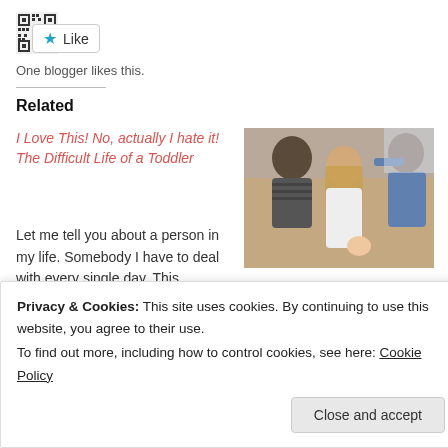[Figure (other): Like button with star icon and QR code icon]
One blogger likes this.
Related
I Love This! No, actually I hate it! The Difficult Life of a Toddler
Let me tell you about a person in my life. Somebody I have to deal with every single day. This somebody is not an easy
[Figure (photo): Photo of a woman with long hair being styled, with people around her including someone breastfeeding a baby]
Do We Need To Make Breastfeeding Glamorous To Be Allowed To Nurse In
Privacy & Cookies: This site uses cookies. By continuing to use this website, you agree to their use.
To find out more, including how to control cookies, see here: Cookie Policy
Close and accept